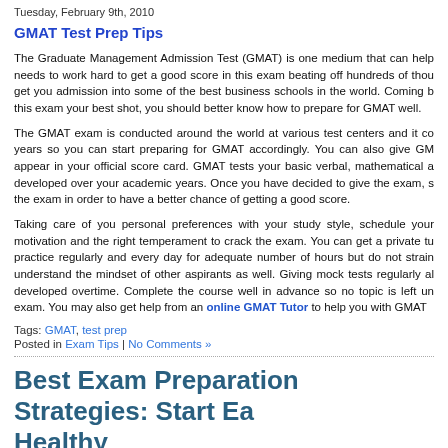Tuesday, February 9th, 2010
GMAT Test Prep Tips
The Graduate Management Admission Test (GMAT) is one medium that can help needs to work hard to get a good score in this exam beating off hundreds of thousands get you admission into some of the best business schools in the world. Coming b this exam your best shot, you should better know how to prepare for GMAT well.
The GMAT exam is conducted around the world at various test centers and it co years so you can start preparing for GMAT accordingly. You can also give GM appear in your official score card. GMAT tests your basic verbal, mathematical a developed over your academic years. Once you have decided to give the exam, s the exam in order to have a better chance of getting a good score.
Taking care of you personal preferences with your study style, schedule your motivation and the right temperament to crack the exam. You can get a private tu practice regularly and every day for adequate number of hours but do not strain understand the mindset of other aspirants as well. Giving mock tests regularly al developed overtime. Complete the course well in advance so no topic is left un exam. You may also get help from an online GMAT Tutor to help you with GMAT
Tags: GMAT, test prep
Posted in Exam Tips | No Comments »
Best Exam Preparation Strategies: Start Ea Healthy